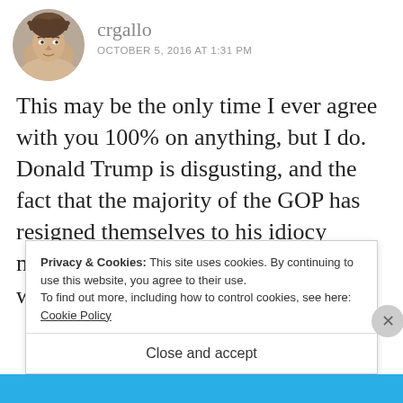[Figure (photo): Circular avatar photo of a woman with hair up, selfie style]
crgallo
OCTOBER 5, 2016 AT 1:31 PM
This may be the only time I ever agree with you 100% on anything, but I do. Donald Trump is disgusting, and the fact that the majority of the GOP has resigned themselves to his idiocy makes me insane. Good article- very well written.
Privacy & Cookies: This site uses cookies. By continuing to use this website, you agree to their use.
To find out more, including how to control cookies, see here: Cookie Policy
Close and accept